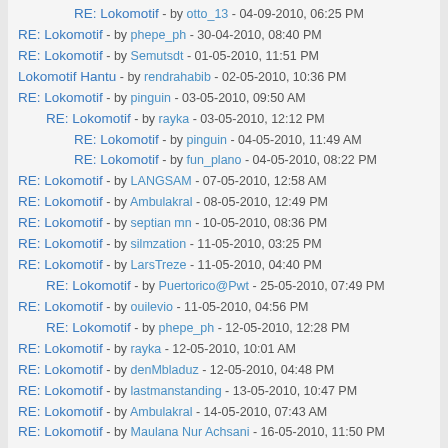RE: Lokomotif - by otto_13 - 04-09-2010, 06:25 PM
RE: Lokomotif - by phepe_ph - 30-04-2010, 08:40 PM
RE: Lokomotif - by Semutsdt - 01-05-2010, 11:51 PM
Lokomotif Hantu - by rendrahabib - 02-05-2010, 10:36 PM
RE: Lokomotif - by pinguin - 03-05-2010, 09:50 AM
RE: Lokomotif - by rayka - 03-05-2010, 12:12 PM
RE: Lokomotif - by pinguin - 04-05-2010, 11:49 AM
RE: Lokomotif - by fun_plano - 04-05-2010, 08:22 PM
RE: Lokomotif - by LANGSAM - 07-05-2010, 12:58 AM
RE: Lokomotif - by Ambulakral - 08-05-2010, 12:49 PM
RE: Lokomotif - by septian mn - 10-05-2010, 08:36 PM
RE: Lokomotif - by silmzation - 11-05-2010, 03:25 PM
RE: Lokomotif - by LarsTreze - 11-05-2010, 04:40 PM
RE: Lokomotif - by Puertorico@Pwt - 25-05-2010, 07:49 PM
RE: Lokomotif - by ouilevio - 11-05-2010, 04:56 PM
RE: Lokomotif - by phepe_ph - 12-05-2010, 12:28 PM
RE: Lokomotif - by rayka - 12-05-2010, 10:01 AM
RE: Lokomotif - by denMbladuz - 12-05-2010, 04:48 PM
RE: Lokomotif - by lastmanstanding - 13-05-2010, 10:47 PM
RE: Lokomotif - by Ambulakral - 14-05-2010, 07:43 AM
RE: Lokomotif - by Maulana Nur Achsani - 16-05-2010, 11:50 PM
RE: Lokomotif - by Ambulakral - 18-05-2010, 10:50 AM
RE: Lokomotif - by Semutsdt - 24-05-2010, 08:22 AM
RE: Lokomotif - by antimon40 - 30-05-2010, 01:48 PM
RE: Lokomotif - by silmzation - 30-05-2010, 05:40 PM